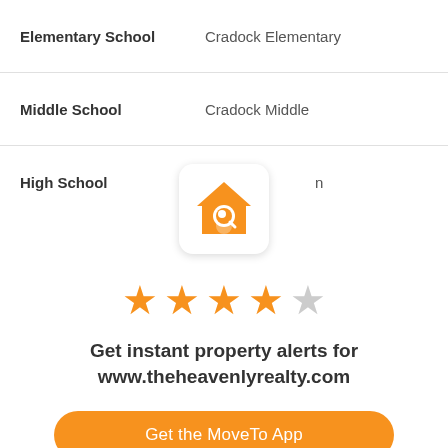|  |  |
| --- | --- |
| Elementary School | Cradock Elementary |
| Middle School | Cradock Middle |
| High School | n |
[Figure (logo): House with magnifying glass icon in orange, app logo for MoveTo or similar property search app]
[Figure (infographic): 4 out of 5 star rating shown with orange filled stars and one grey star]
Get instant property alerts for www.theheavenlyrealty.com
Get the MoveTo App
Not Now
[Figure (illustration): Blue circular chat bubble icon in bottom right corner]